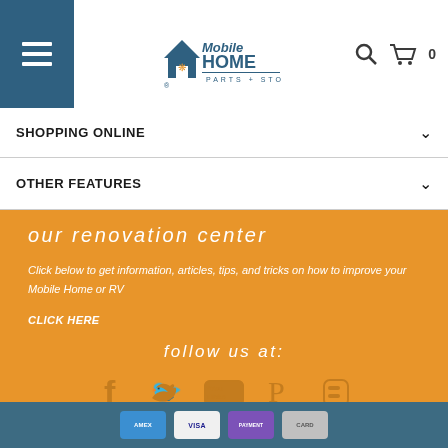Mobile Home Parts + Store
SHOPPING ONLINE
OTHER FEATURES
our renovation center
Click below to get information, articles, tips, and tricks on how to improve your Mobile Home or RV
CLICK HERE
follow us at:
[Figure (infographic): Social media icons: Facebook, Twitter, YouTube, Pinterest, Blogger]
Payment method icons: American Express, Visa/other cards